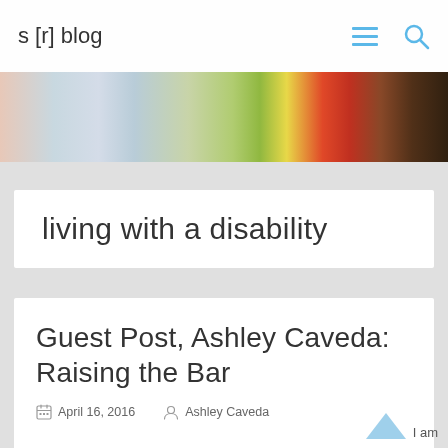s [r] blog
[Figure (photo): Colorful abstract painting banner image strip with yellows, reds, greens and blues]
living with a disability
Guest Post, Ashley Caveda: Raising the Bar
April 16, 2016   Ashley Caveda
I am